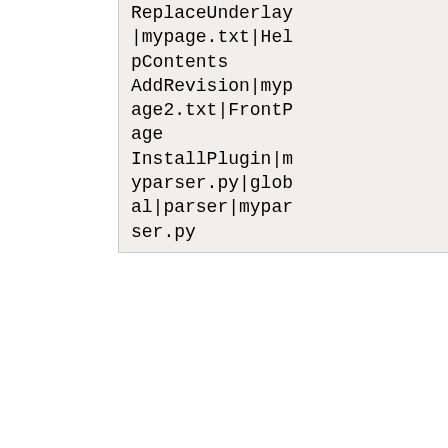ReplaceUnderlay|mypage.txt|HelpContents
AddRevision|mypage2.txt|FrontPage
InstallPlugin|myparser.py|global|parser|myparser.py
The first line simply marks the file as a script file and sets the revision of the used language. For now, it will be 1.
The second line replaces the underlay version of the page HelpContents with the file